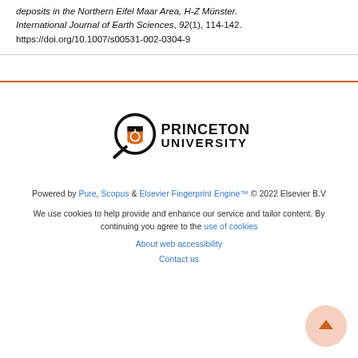deposits in the Northern Eifel Maar Area. H-Z Münster. International Journal of Earth Sciences, 92(1), 114-142. https://doi.org/10.1007/s00531-002-0304-9
[Figure (logo): Princeton University logo with magnifying glass icon and text PRINCETON UNIVERSITY]
Powered by Pure, Scopus & Elsevier Fingerprint Engine™ © 2022 Elsevier B.V
We use cookies to help provide and enhance our service and tailor content. By continuing you agree to the use of cookies
About web accessibility
Contact us